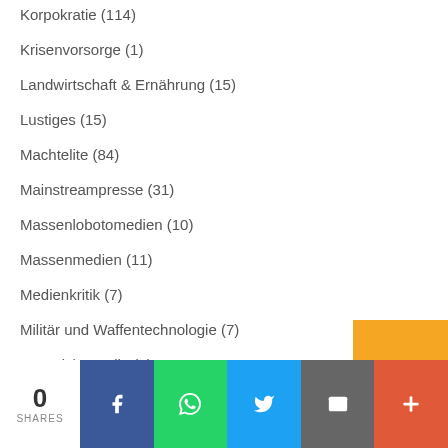Korpokratie (114)
Krisenvorsorge (1)
Landwirtschaft & Ernährung (15)
Lustiges (15)
Machtelite (84)
Mainstreampresse (31)
Massenlobotomedien (10)
Massenmedien (11)
Medienkritik (7)
Militär und Waffentechnologie (7)
Narrativkontrolle (1)
NATO (6)
0 SHARES